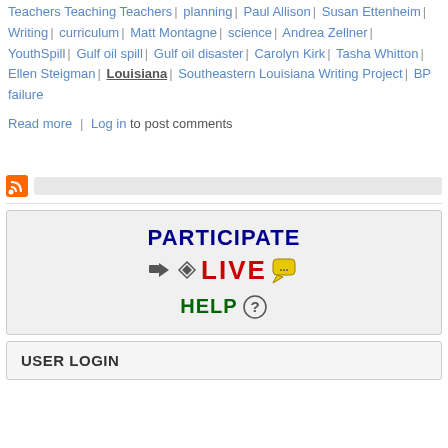Teachers Teaching Teachers | planning | Paul Allison | Susan Ettenheim | Writing | curriculum | Matt Montagne | science | Andrea Zellner | YouthSpill | Gulf oil spill | Gulf oil disaster | Carolyn Kirk | Tasha Whitton | Ellen Steigman | Louisiana | Southeastern Louisiana Writing Project | BP failure
Read more | Log in to post comments
[Figure (other): RSS feed icon (orange square with white radio waves)]
[Figure (infographic): Participate Live Help banner with dark blue PARTICIPATE text, red LIVE text with megaphone and chat icons, and green HELP text with question mark icon]
USER LOGIN